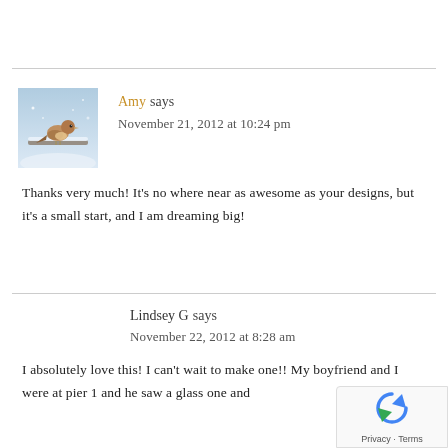[Figure (photo): Small bird perched on a snowy branch, blue-toned winter photo used as avatar]
Amy says
November 21, 2012 at 10:24 pm
Thanks very much! It’s no where near as awesome as your designs, but it’s a small start, and I am dreaming big!
Lindsey G says
November 22, 2012 at 8:28 am
I absolutely love this! I can’t wait to make one!! My boyfriend and I were at pier 1 and he saw a glass one and